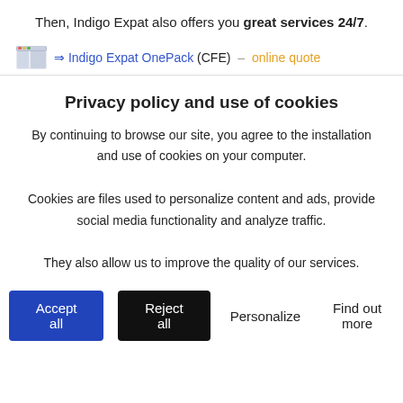Then, Indigo Expat also offers you great services 24/7.
⇒ Indigo Expat OnePack (CFE) – online quote
Privacy policy and use of cookies
By continuing to browse our site, you agree to the installation and use of cookies on your computer.
Cookies are files used to personalize content and ads, provide social media functionality and analyze traffic.
They also allow us to improve the quality of our services.
Accept all   Reject all   Personalize   Find out more